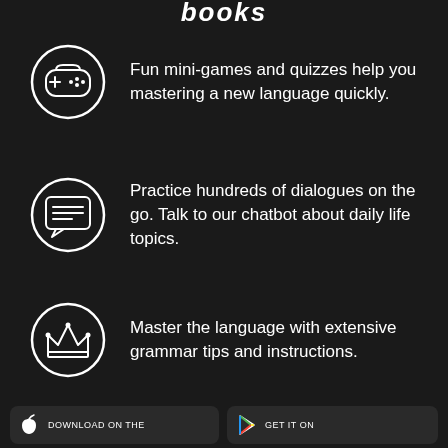books
Fun mini-games and quizzes help you mastering a new language quickly.
Practice hundreds of dialogues on the go. Talk to our chatbot about daily life topics.
Master the language with extensive grammar tips and instructions.
[Figure (infographic): App store download buttons: Download on the App Store and GET IT ON Google Play]
Download on the | GET IT ON